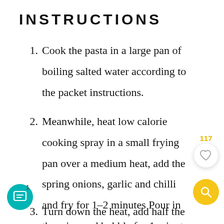INSTRUCTIONS
1. Cook the pasta in a large pan of boiling salted water according to the packet instructions.
2. Meanwhile, heat low calorie cooking spray in a small frying pan over a medium heat, add the spring onions, garlic and chilli and fry for 1-2 minutes Pour in the wine and bubble for 1 minut
3. Turn down the heat, add half the lemon